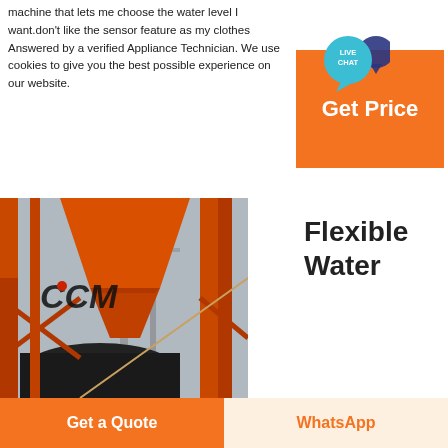machine that lets me choose the water level I want.don't like the sensor feature as my clothes Answered by a verified Appliance Technician. We use cookies to give you the best possible experience on our website.
[Figure (other): Orange button with 'Get Price' text and a teal live chat bubble icon]
[Figure (photo): Industrial red steel structure with conveyor belt and coal loading equipment, labeled CCM]
Flexible Water
[Figure (other): Bottom bar with orange 'Get a Quote' button and light 'WhatsApp' button]